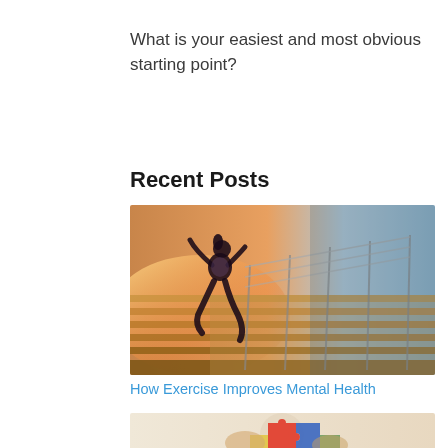What is your easiest and most obvious starting point?
Recent Posts
[Figure (photo): A woman running up outdoor stairs with sun flare in the background, silhouette-style athletic photo]
How Exercise Improves Mental Health
[Figure (photo): Partial image of hands holding a puzzle piece, likely related to mental health or autism awareness]